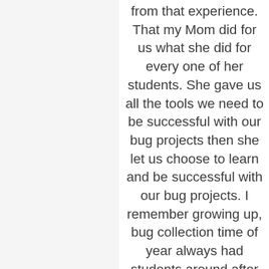from that experience.  That my Mom did for us what she did for every one of her students.  She gave us all the tools we need to be successful with our bug projects then she let us choose to learn and be successful with our bug projects.  I remember growing up, bug collection time of year always had students around after school trying to identify that one big they just couldn’t figure out.  The kids would have books out, bug collections from past years, they would ask questions and get simple